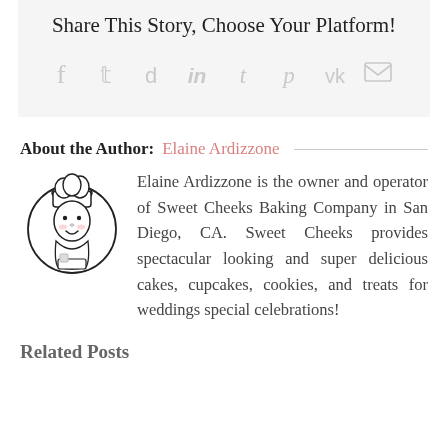Share This Story, Choose Your Platform!
[Figure (infographic): Social media sharing icons: Facebook, Twitter, Reddit, LinkedIn, Tumblr, Pinterest, VK, Email]
About the Author: Elaine Ardizzone
[Figure (illustration): Cartoon illustration of a baker/chef character inside a circle]
Elaine Ardizzone is the owner and operator of Sweet Cheeks Baking Company in San Diego, CA. Sweet Cheeks provides spectacular looking and super delicious cakes, cupcakes, cookies, and treats for weddings special celebrations!
Related Posts